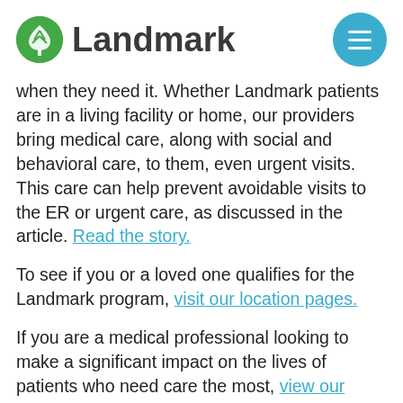Landmark
when they need it. Whether Landmark patients are in a living facility or home, our providers bring medical care, along with social and behavioral care, to them, even urgent visits. This care can help prevent avoidable visits to the ER or urgent care, as discussed in the article. Read the story.
To see if you or a loved one qualifies for the Landmark program, visit our location pages.
If you are a medical professional looking to make a significant impact on the lives of patients who need care the most, view our open positions. We are hiring in Portland and across the US.